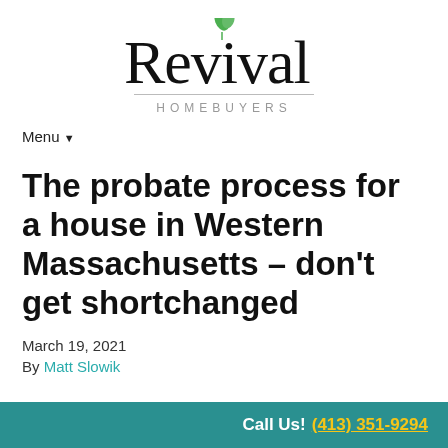[Figure (logo): Revival Homebuyers logo with script text and green leaf icon above the 'i' in Revival, with 'HOMEBUYERS' in spaced uppercase letters below]
Menu ▼
The probate process for a house in Western Massachusetts – don't get shortchanged
March 19, 2021
By Matt Slowik
Call Us! (413) 351-9294